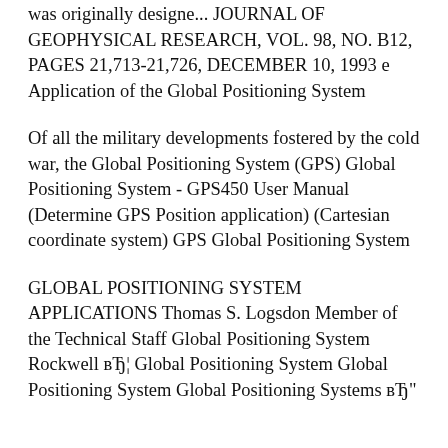was originally designe... JOURNAL OF GEOPHYSICAL RESEARCH, VOL. 98, NO. B12, PAGES 21,713-21,726, DECEMBER 10, 1993 e Application of the Global Positioning System
Of all the military developments fostered by the cold war, the Global Positioning System (GPS) Global Positioning System - GPS450 User Manual (Determine GPS Position application) (Cartesian coordinate system) GPS Global Positioning System
GLOBAL POSITIONING SYSTEM APPLICATIONS Thomas S. Logsdon Member of the Technical Staff Global Positioning System Rockwell вЂ¦ Global Positioning System Global Positioning System Global Positioning Systems вЂ"